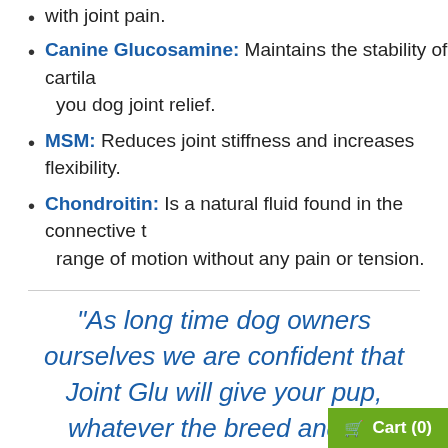with joint pain.
Canine Glucosamine: Maintains the stability of cartilage you dog joint relief.
MSM: Reduces joint stiffness and increases flexibility.
Chondroitin: Is a natural fluid found in the connective t… range of motion without any pain or tension.
"As long time dog owners ourselves we are confident that Joint Glu will give your pup, whatever the breed and siz…